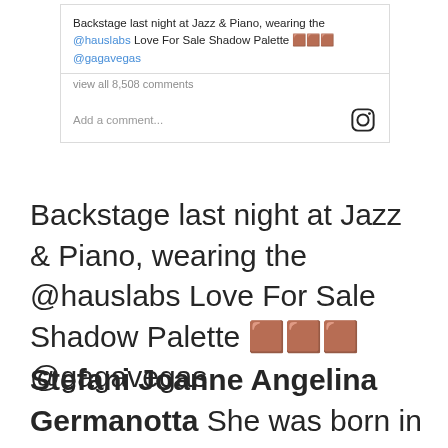[Figure (screenshot): Instagram post caption and comment box screenshot showing: 'Backstage last night at Jazz & Piano, wearing the @hauslabs Love For Sale Shadow Palette 🟫🟫🟫 @gagavegas' with 'view all 8,508 comments' and an 'Add a comment...' input field with Instagram icon.]
Backstage last night at Jazz & Piano, wearing the @hauslabs Love For Sale Shadow Palette 🟫🟫🟫 @gagavegas
Stefani Joanne Angelina Germanotta She was born in New York on March 28, 1986. Better known